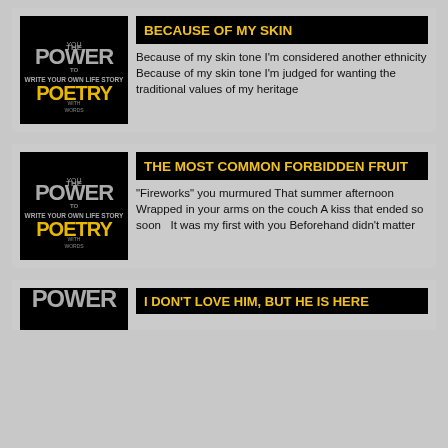BECAUSE OF MY SKIN
Because of my skin tone I'm considered another ethnicity Because of my skin tone I'm judged for wanting the traditional values of my heritage
THE MOST COMMON FORBIDDEN FRUIT
"Fireworks" you murmured That summer afternoon Wrapped in your arms on the couch A kiss that ended so soon   It was my first with you Beforehand didn't matter
I DON'T LOVE HIM, BUT HE IS HERE